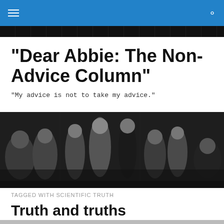Navigation bar with hamburger menu and search icon
"Dear Abbie: The Non-Advice Column"
"My advice is not to take my advice."
[Figure (photo): Black and white photograph of people on a busy street or public space, mid-20th century style]
TAGGED WITH SCIENTIFIC TRUTH
Truth and truths